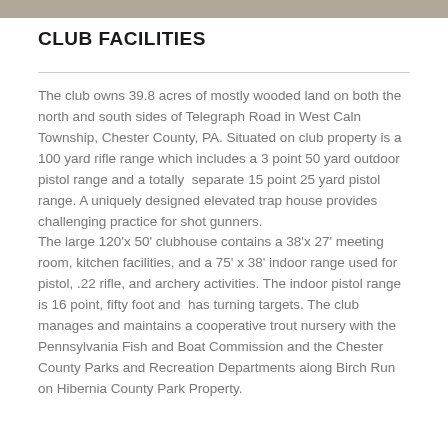[Figure (photo): Partial photo strip visible at top of page]
CLUB FACILITIES
The club owns 39.8 acres of mostly wooded land on both the north and south sides of Telegraph Road in West Caln Township, Chester County, PA. Situated on club property is a 100 yard rifle range which includes a 3 point 50 yard outdoor pistol range and a totally  separate 15 point 25 yard pistol range. A uniquely designed elevated trap house provides challenging practice for shot gunners.
The large 120'x 50' clubhouse contains a 38'x 27' meeting room, kitchen facilities, and a 75' x 38' indoor range used for pistol, .22 rifle, and archery activities. The indoor pistol range is 16 point, fifty foot and  has turning targets. The club manages and maintains a cooperative trout nursery with the Pennsylvania Fish and Boat Commission and the Chester County Parks and Recreation Departments along Birch Run on Hibernia County Park Property.